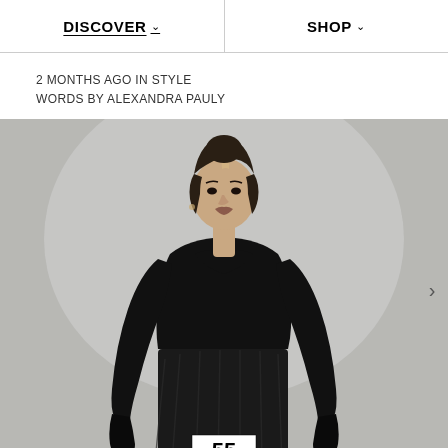DISCOVER  SHOP
2 MONTHS AGO IN STYLE
WORDS BY ALEXANDRA PAULY
[Figure (photo): A woman in a black long-sleeve form-fitting dress with ruched skirt stands against a light grey background, holding a card with the number 55. Navigation arrow > visible on right side.]